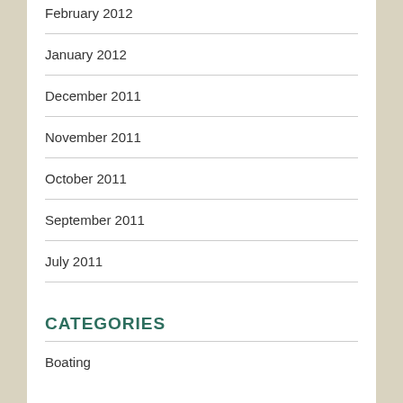February 2012
January 2012
December 2011
November 2011
October 2011
September 2011
July 2011
June 2011
CATEGORIES
Boating